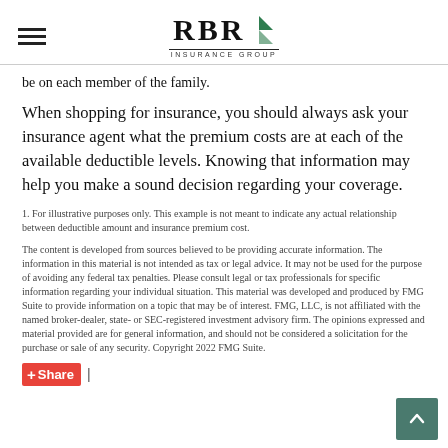RBR Insurance Group
be on each member of the family.
When shopping for insurance, you should always ask your insurance agent what the premium costs are at each of the available deductible levels. Knowing that information may help you make a sound decision regarding your coverage.
1. For illustrative purposes only. This example is not meant to indicate any actual relationship between deductible amount and insurance premium cost.
The content is developed from sources believed to be providing accurate information. The information in this material is not intended as tax or legal advice. It may not be used for the purpose of avoiding any federal tax penalties. Please consult legal or tax professionals for specific information regarding your individual situation. This material was developed and produced by FMG Suite to provide information on a topic that may be of interest. FMG, LLC, is not affiliated with the named broker-dealer, state- or SEC-registered investment advisory firm. The opinions expressed and material provided are for general information, and should not be considered a solicitation for the purchase or sale of any security. Copyright 2022 FMG Suite.
Share |